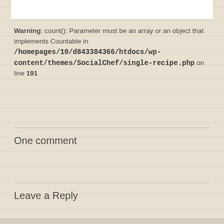Warning: count(): Parameter must be an array or an object that implements Countable in /homepages/10/d843384366/htdocs/wp-content/themes/SocialChef/single-recipe.php on line 191
One comment
Leave a Reply